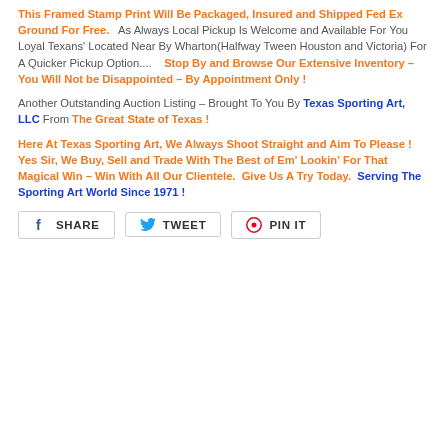This Framed Stamp Print Will Be Packaged, Insured and Shipped Fed Ex Ground For Free. As Always Local Pickup Is Welcome and Available For You Loyal Texans' Located Near By Wharton(Halfway Tween Houston and Victoria) For A Quicker Pickup Option....   Stop By and Browse Our Extensive Inventory – You Will Not be Disappointed – By Appointment Only !
Another Outstanding Auction Listing – Brought To You By Texas Sporting Art, LLC From The Great State of Texas !
Here At Texas Sporting Art, We Always Shoot Straight and Aim To Please !  Yes Sir, We Buy, Sell and Trade With The Best of Em' Lookin' For That Magical Win – Win With All Our Clientele.  Give Us A Try Today.  Serving The Sporting Art World Since 1971 !
[Figure (other): Social sharing buttons: SHARE (Facebook), TWEET (Twitter), PIN IT (Pinterest)]